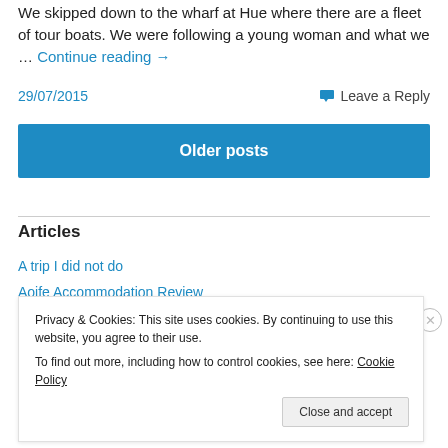We skipped down to the wharf at Hue where there are a fleet of tour boats. We were following a young woman and what we … Continue reading →
29/07/2015
Leave a Reply
Older posts
Articles
A trip I did not do
Aoife Accommodation Review
Privacy & Cookies: This site uses cookies. By continuing to use this website, you agree to their use.
To find out more, including how to control cookies, see here: Cookie Policy
Close and accept